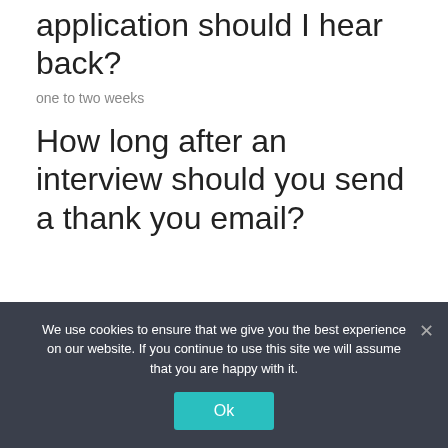application should I hear back?
one to two weeks
How long after an interview should you send a thank you email?
24 hours
Is it okay to follow up after submitting an application?
We use cookies to ensure that we give you the best experience on our website. If you continue to use this site we will assume that you are happy with it.